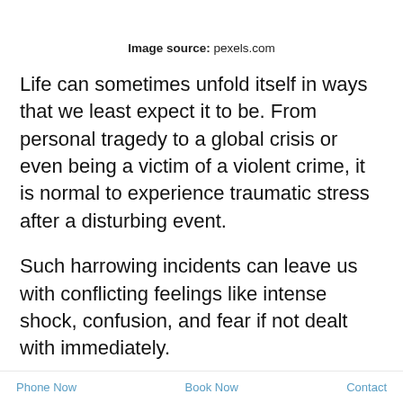Image source: pexels.com
Life can sometimes unfold itself in ways that we least expect it to be. From personal tragedy to a global crisis or even being a victim of a violent crime, it is normal to experience traumatic stress after a disturbing event.
Such harrowing incidents can leave us with conflicting feelings like intense shock, confusion, and fear if not dealt with immediately.
Not only this, but repeated traumatic stress can shatter one's sense of security, leaving behind a feeling of helplessness and vulnerability.
Phone Now   Book Now   Contact